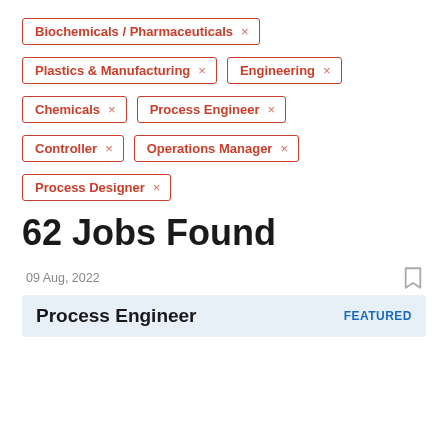Biochemicals / Pharmaceuticals ×
Plastics & Manufacturing ×
Engineering ×
Chemicals ×
Process Engineer ×
Controller ×
Operations Manager ×
Process Designer ×
62 Jobs Found
09 Aug, 2022
Process Engineer  FEATURED